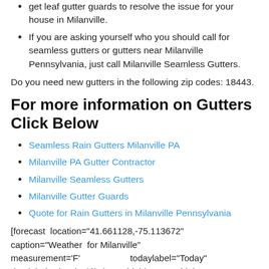get leaf gutter guards to resolve the issue for your house in Milanville.
If you are asking yourself who you should call for seamless gutters or gutters near Milanville Pennsylvania, just call Milanville Seamless Gutters.
Do you need new gutters in the following zip codes: 18443.
For more information on Gutters Click Below
Seamless Rain Gutters Milanville PA
Milanville PA Gutter Contractor
Milanville Seamless Gutters
Milanville Gutter Guards
Quote for Rain Gutters in Milanville Pennsylvania
[forecast location="41.661128,-75.113672" caption="Weather for Milanville" measurement='F' todaylabel="Today" datelabel="date('m/d/Y')" highlow='%%high%%°/%%low%%°' numdays="5" iconset="Contemporary" class="css_table_class" cache="true" width="100%"]
[Figure (map): Map showing Cochecton area near Milanville Pennsylvania]